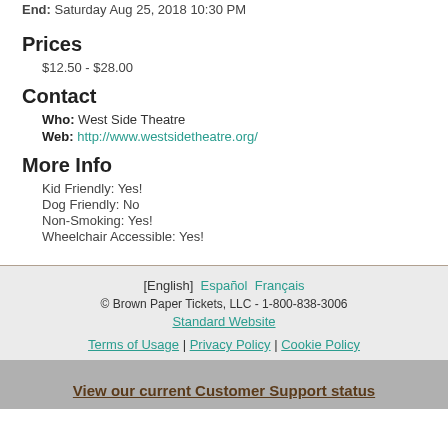End:  Saturday Aug 25, 2018 10:30 PM
Prices
$12.50 - $28.00
Contact
Who:  West Side Theatre
Web:  http://www.westsidetheatre.org/
More Info
Kid Friendly:  Yes!
Dog Friendly:  No
Non-Smoking:  Yes!
Wheelchair Accessible:  Yes!
[English]  Español  Français
© Brown Paper Tickets, LLC - 1-800-838-3006
Standard Website
Terms of Usage | Privacy Policy | Cookie Policy
View our current Customer Support status